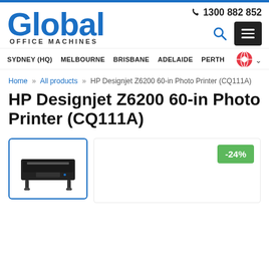[Figure (logo): Global Office Machines logo with blue 'Global' text and subtitle 'OFFICE MACHINES']
📞 1300 882 852
SYDNEY (HQ)   MELBOURNE   BRISBANE   ADELAIDE   PERTH
Home » All products » HP Designjet Z6200 60-in Photo Printer (CQ111A)
HP Designjet Z6200 60-in Photo Printer (CQ111A)
[Figure (photo): Thumbnail image of HP Designjet Z6200 wide-format printer]
-24%